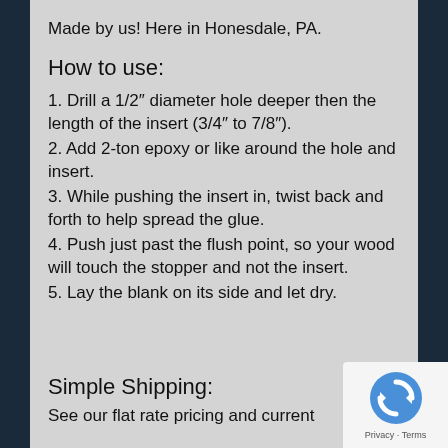Made by us! Here in Honesdale, PA.
How to use:
1. Drill a 1/2″ diameter hole deeper then the length of the insert (3/4″ to 7/8″).
2. Add 2-ton epoxy or like around the hole and insert.
3. While pushing the insert in, twist back and forth to help spread the glue.
4. Push just past the flush point, so your wood will touch the stopper and not the insert.
5. Lay the blank on its side and let dry.
Simple Shipping:
See our flat rate pricing and current